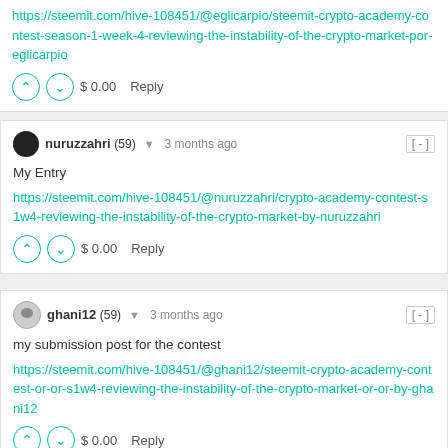https://steemit.com/hive-108451/@eglicarpio/steemit-crypto-academy-contest-season-1-week-4-reviewing-the-instability-of-the-crypto-market-por-eglicarpio
$ 0.00  Reply
nuruzzahri (59) ▾  3 months ago  [-]
My Entry
https://steemit.com/hive-108451/@nuruzzahri/crypto-academy-contest-s1w4-reviewing-the-instability-of-the-crypto-market-by-nuruzzahri
$ 0.00  Reply
ghani12 (59) ▾  3 months ago  [-]
my submission post for the contest
https://steemit.com/hive-108451/@ghani12/steemit-crypto-academy-contest-or-or-s1w4-reviewing-the-instability-of-the-crypto-market-or-or-by-ghani12
$ 0.00  Reply